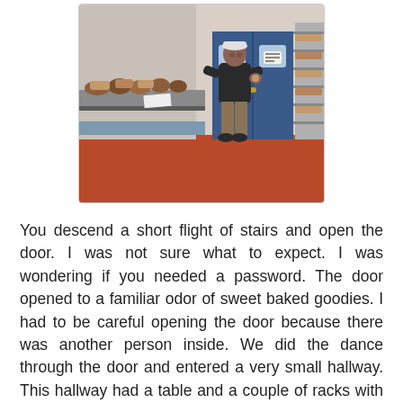[Figure (photo): A person wearing a dark shirt and khaki pants with a cap stands in a small bakery room/hallway next to a counter with baked goods. Behind them are blue double doors with small windows. To the right are metal racks loaded with baked goods. The floor is red/orange.]
You descend a short flight of stairs and open the door. I was not sure what to expect. I was wondering if you needed a password. The door opened to a familiar odor of sweet baked goodies. I had to be careful opening the door because there was another person inside. We did the dance through the door and entered a very small hallway. This hallway had a table and a couple of racks with numerous baked goods. That is all she wrote,this place is tiny. A very helpful clerk excitingly told me about the products and offered a couple of samples. It may of been unfair to offer these samples because of my sweet tooth weakness.